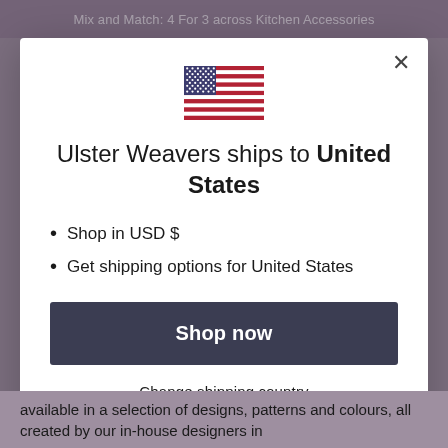Mix and Match: 4 For 3 across Kitchen Accessories
[Figure (illustration): US flag icon]
Ulster Weavers ships to United States
Shop in USD $
Get shipping options for United States
Shop now
Change shipping country
available in a selection of designs, patterns and colours, all created by our in-house designers in